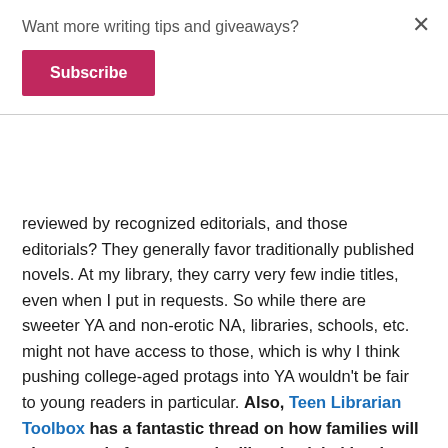Want more writing tips and giveaways?
Subscribe
reviewed by recognized editorials, and those editorials? They generally favor traditionally published novels. At my library, they carry very few indie titles, even when I put in requests. So while there are sweeter YA and non-erotic NA, libraries, schools, etc. might not have access to those, which is why I think pushing college-aged protags into YA wouldn't be fair to young readers in particular. Also, Teen Librarian Toolbox has a fantastic thread on how families will chose reads for teens, why libraries label books the way they do, and how labeling college-aged teens as YA could negatively impact shelves. She also explains why YA was a wrong term to begin with in the first